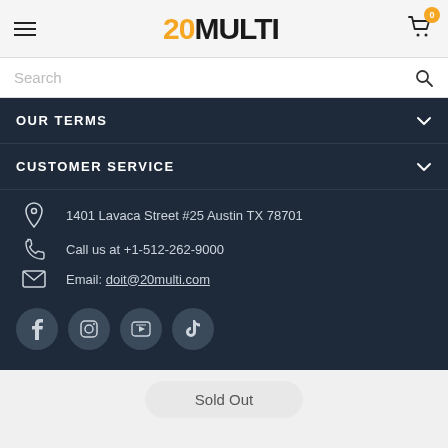20MULTI - Navigation header with hamburger menu, logo, and cart
Search
OUR TERMS
CUSTOMER SERVICE
1401 Lavaca Street #25 Austin TX 78701
Call us at +1-512-262-9000
Email: doit@20multi.com
Social media icons: Facebook, Instagram, YouTube, TikTok
Sold Out